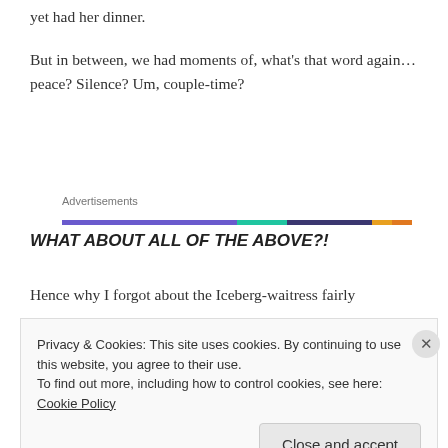yet had her dinner.
But in between, we had moments of, what's that word again… peace? Silence? Um, couple-time?
Advertisements
WHAT ABOUT ALL OF THE ABOVE?!
Hence why I forgot about the Iceberg-waitress fairly
Privacy & Cookies: This site uses cookies. By continuing to use this website, you agree to their use.
To find out more, including how to control cookies, see here: Cookie Policy
Close and accept